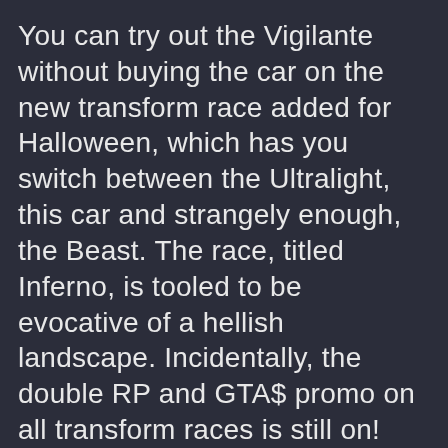You can try out the Vigilante without buying the car on the new transform race added for Halloween, which has you switch between the Ultralight, this car and strangely enough, the Beast. The race, titled Inferno, is tooled to be evocative of a hellish landscape. Incidentally, the double RP and GTA$ promo on all transform races is still on!
Continuing the Halloween theme, the newest Adversary Mode coming to GTA Online brings a whole new twist to hot potatoes.